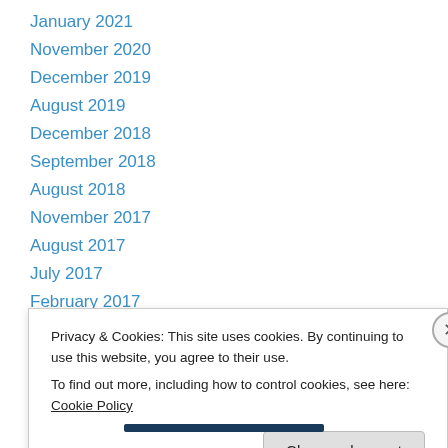January 2021
November 2020
December 2019
August 2019
December 2018
September 2018
August 2018
November 2017
August 2017
July 2017
February 2017
November 2016
August 2016
Privacy & Cookies: This site uses cookies. By continuing to use this website, you agree to their use.
To find out more, including how to control cookies, see here: Cookie Policy
Close and accept